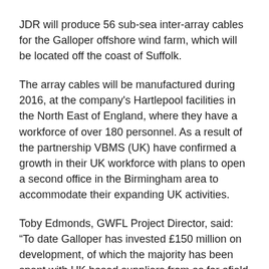JDR will produce 56 sub-sea inter-array cables for the Galloper offshore wind farm, which will be located off the coast of Suffolk.
The array cables will be manufactured during 2016, at the company's Hartlepool facilities in the North East of England, where they have a workforce of over 180 personnel. As a result of the partnership VBMS (UK) have confirmed a growth in their UK workforce with plans to open a second office in the Birmingham area to accommodate their expanding UK activities.
Toby Edmonds, GWFL Project Director, said: “To date Galloper has invested £150 million on development, of which the majority has been spent with UK based suppliers from as far afield as Aberdeen, Peterborough, Manchester and